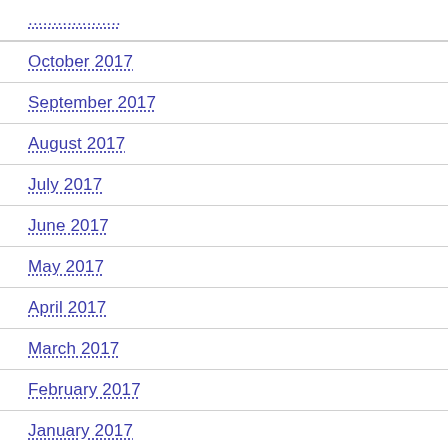...
October 2017
September 2017
August 2017
July 2017
June 2017
May 2017
April 2017
March 2017
February 2017
January 2017